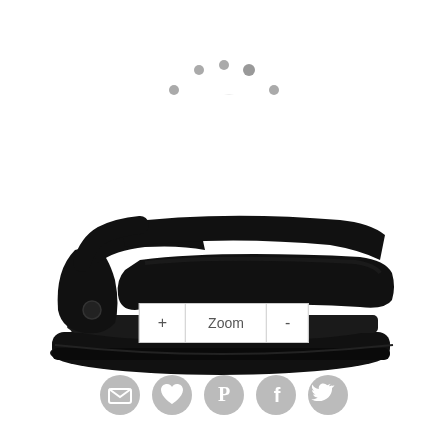[Figure (other): Loading spinner with dots arranged in a circle and the text LOADING in the center]
[Figure (photo): Black platform sandal with velcro ankle strap and thick chunky sole, shown in profile view on white background]
[Figure (other): Zoom control bar with + Zoom - buttons]
[Figure (other): Row of five social sharing icons: email envelope, heart/wishlist, Pinterest, Facebook, Twitter - all in grey circle style]